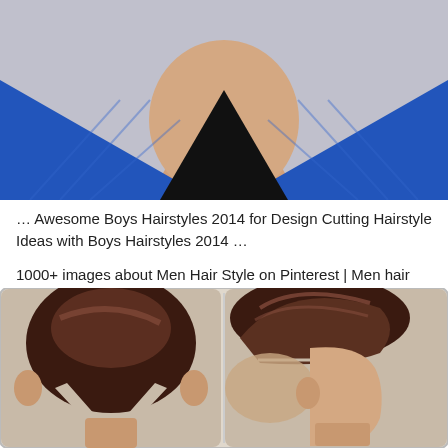[Figure (photo): Close-up photo of a young man from chin/neck level, wearing a blue jacket with black collar, face partially visible, light gray background]
… Awesome Boys Hairstyles 2014 for Design Cutting Hairstyle Ideas with Boys Hairstyles 2014 …
1000+ images about Men Hair Style on Pinterest | Men hair cuts …
[Figure (photo): Two-panel photo showing men's hairstyle: left panel shows back view of a dramatic pompadour with V-shaped undercut, right panel shows side profile of same pompadour style with hard part]